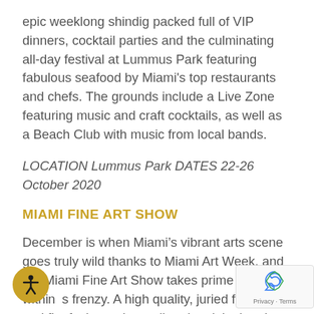epic weeklong shindig packed full of VIP dinners, cocktail parties and the culminating all-day festival at Lummus Park featuring fabulous seafood by Miami's top restaurants and chefs. The grounds include a Live Zone featuring music and craft cocktails, as well as a Beach Club with music from local bands.
LOCATION Lummus Park DATES 22-26 October 2020
MIAMI FINE ART SHOW
December is when Miami's vibrant arts scene goes truly wild thanks to Miami Art Week, and the Miami Fine Art Show takes prime position within s frenzy. A high quality, juried fine art and fi aft show where all art is original and person